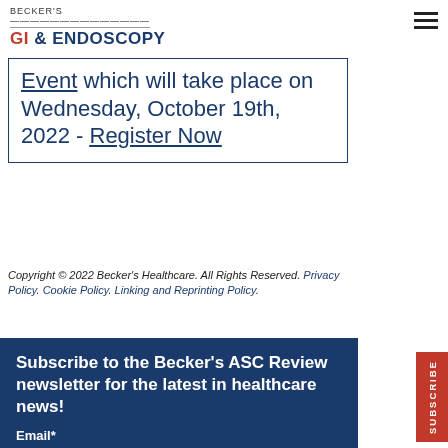BECKER'S GI & ENDOSCOPY
Event which will take place on Wednesday, October 19th, 2022 - Register Now
Copyright © 2022 Becker's Healthcare. All Rights Reserved. Privacy Policy. Cookie Policy. Linking and Reprinting Policy.
Subscribe to the Becker's ASC Review newsletter for the latest in healthcare news!
Email*
You can unsubscribe from these communications at any time. For more information, please review our Privacy Policy.